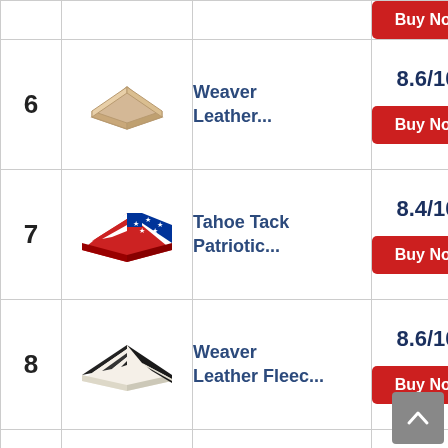| # | Image | Product | Score |
| --- | --- | --- | --- |
|  |  |  | Buy Now |
| 6 | [image] | Weaver Leather... | 8.6/10 | Buy Now |
| 7 | [image] | Tahoe Tack Patriotic... | 8.4/10 | Buy Now |
| 8 | [image] | Weaver Leather Fleec... | 8.6/10 | Buy Now |
| 9 | [image] | Professional's | 9.2/10 |